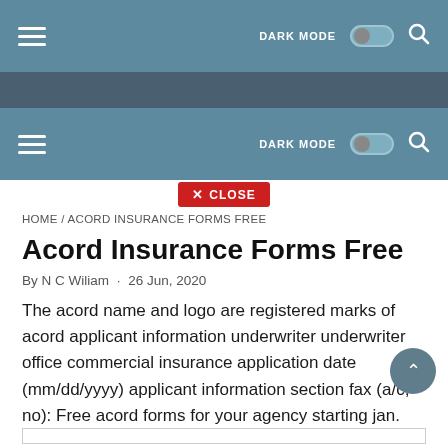DARK MODE [toggle] [search]
DARK MODE [toggle] [search]
✕ CLOSE
HOME / ACORD INSURANCE FORMS FREE
Acord Insurance Forms Free
By N C Wiliam · 26 Jun, 2020
The acord name and logo are registered marks of acord applicant information underwriter underwriter office commercial insurance application date (mm/dd/yyyy) applicant information section fax (a/c, no): Free acord forms for your agency starting jan.